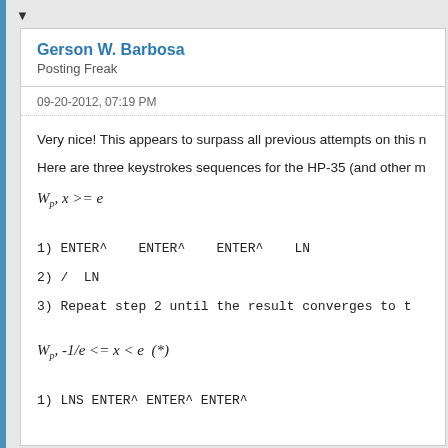▼
Gerson W. Barbosa
Posting Freak
09-20-2012, 07:19 PM
Very nice! This appears to surpass all previous attempts on this n
Here are three keystrokes sequences for the HP-35 (and other m
1)  ENTER^    ENTER^    ENTER^    LN
2) /   LN
3) Repeat step 2 until the result converges to t
1)  LNS  ENTER^  ENTER^  ENTER^